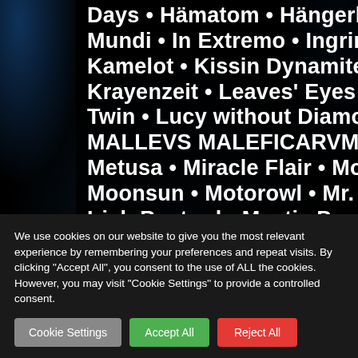Days • Hämatom • Hängerbänd • Ignis Fatuu • Impactor • Impius Mundi • In Extremo • Ingrimm • Joe Bonamassa • Kalmah • Kamelot • Kissin Dynamite • Knasterbart • Korpiklaani • Krayenzeit • Leaves' Eyes • Letzte Instanz • Lichtgestalt • Lion Twin • Lucy without Diamonds • Lyra's Legacy • Malevolence • MALLEVS MALEFICARVM • Manimal • Maxxwell • MaYan • Metusa • Miracle Flair • Mob Rules • Mono Inc. • Monument • Moonsun • Motorowl • Mr. • Mr. Hurley & Die Pulveraffen • Mr. Irish Bastard • Mystic Prophecy • Nervosa •
We use cookies on our website to give you the most relevant experience by remembering your preferences and repeat visits. By clicking "Accept All", you consent to the use of ALL the cookies. However, you may visit "Cookie Settings" to provide a controlled consent.
Cookie Settings
Accept All
Reject All